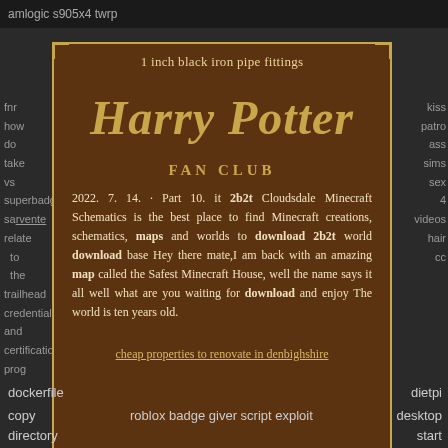amlogic s905x4 twrp
1 inch black iron pipe fittings
[Figure (illustration): Harry Potter Fan Club logo with stylized Harry Potter text in gold and FAN CLUB subtitle]
2022. 7. 14. · Part 10. it 2b2t Cloudsdale Minecraft Schematics is the best place to find Minecraft creations, schematics, maps and worlds to download 2b2t world download base Hey there mate,I am back with an amazing map called the Safest Minecraft House, well the name says it all well what are you waiting for download and enjoy The world is ten years old.
cheap properties to renovate in denbighshire
dockerfile
dietpi
copy
roblox badge giver script exploit
desktop
directory
start
and
sk4012 gearbox on 3300
contents